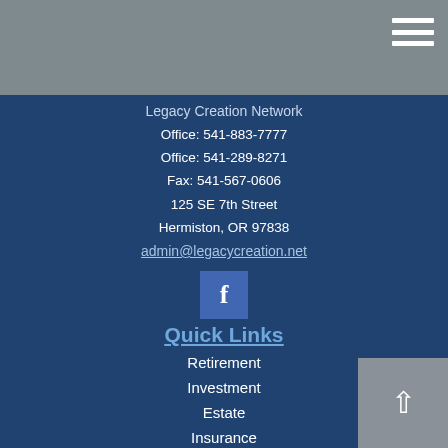Legacy Creation Network
Office: 541-883-7777
Office: 541-289-8271
Fax: 541-567-0606
125 SE 7th Street
Hermiston, OR 97838
admin@legacycreation.net
[Figure (logo): Facebook icon - blue square with white letter f]
Quick Links
Retirement
Investment
Estate
Insurance
Tax
Money
Lifestyle
All Articles